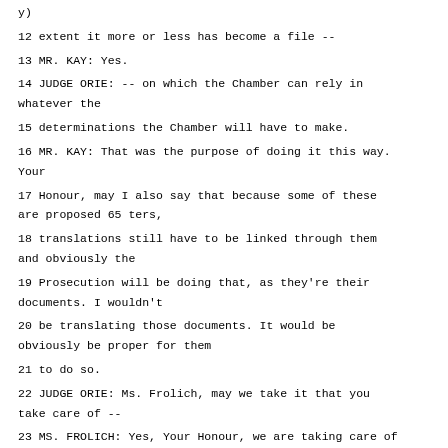extent it more or less has become a file --
13 MR. KAY: Yes.
14 JUDGE ORIE: -- on which the Chamber can rely in whatever the
15 determinations the Chamber will have to make.
16 MR. KAY: That was the purpose of doing it this way. Your
17 Honour, may I also say that because some of these are proposed 65 ters,
18 translations still have to be linked through them and obviously the
19 Prosecution will be doing that, as they're their documents. I wouldn't
20 be translating those documents. It would be obviously be proper for them
21 to do so.
22 JUDGE ORIE: Ms. Frolich, may we take it that you take care of --
23 MS. FROLICH: Yes, Your Honour, we are taking care of